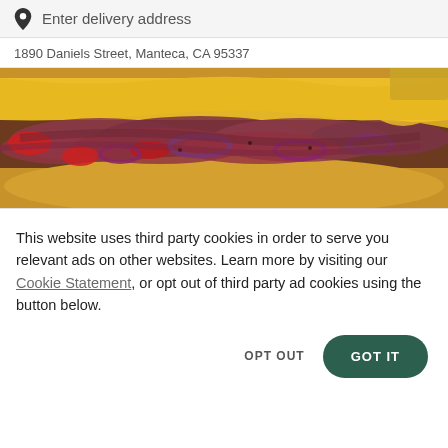Enter delivery address
1890 Daniels Street, Manteca, CA 95337
[Figure (photo): Close-up photo of a deli sandwich with sliced meat, melted yellow cheese, red peppers, and purple onions on a toasted bun.]
This website uses third party cookies in order to serve you relevant ads on other websites. Learn more by visiting our Cookie Statement, or opt out of third party ad cookies using the button below.
OPT OUT
GOT IT